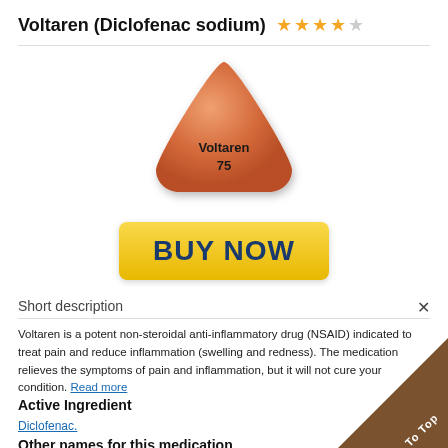Voltaren (Diclofenac sodium) ★★★★☆
[Figure (illustration): Orange/salmon colored triangular pill tablet labeled 'Voltaren 75']
[Figure (other): Yellow 'BUY NOW' button with dark blue bold text]
Short description
Voltaren is a potent non-steroidal anti-inflammatory drug (NSAID) indicated to treat pain and reduce inflammation (swelling and redness). The medication relieves the symptoms of pain and inflammation, but it will not cure your condition. Read more
Active Ingredient
Diclofenac.
Other names for this medication